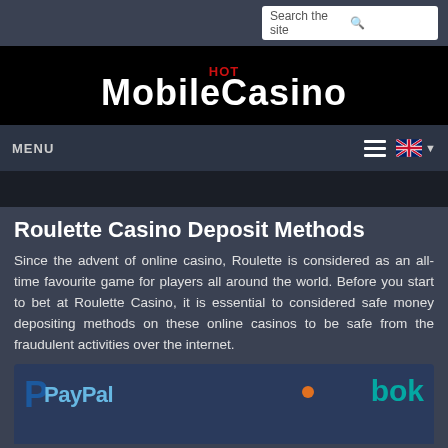[Figure (screenshot): Search bar with 'Search the site' placeholder and magnifying glass icon]
[Figure (logo): Hot MobileCasino logo — white bold text on black background with red 'HOT' above]
MENU
Roulette Casino Deposit Methods
Since the advent of online casino, Roulette is considered as an all-time favourite game for players all around the world. Before you start to bet at Roulette Casino, it is essential to considered safe money depositing methods on these online casinos to be safe from the fraudulent activities over the internet.
[Figure (photo): Image showing PayPal logo and payment method icons on blue background]